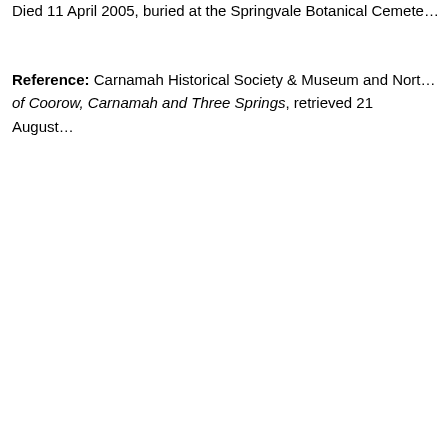Died 11 April 2005, buried at the Springvale Botanical Cemetery.
Reference:  Carnamah Historical Society & Museum and Northampton Historical Society, Biographical Register of Coorow, Carnamah and Three Springs, retrieved 21 August